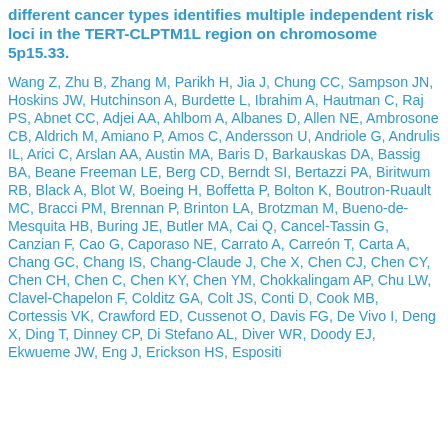different cancer types identifies multiple independent risk loci in the TERT-CLPTM1L region on chromosome 5p15.33.
Wang Z, Zhu B, Zhang M, Parikh H, Jia J, Chung CC, Sampson JN, Hoskins JW, Hutchinson A, Burdette L, Ibrahim A, Hautman C, Raj PS, Abnet CC, Adjei AA, Ahlbom A, Albanes D, Allen NE, Ambrosone CB, Aldrich M, Amiano P, Amos C, Andersson U, Andriole G, Andrulis IL, Arici C, Arslan AA, Austin MA, Baris D, Barkauskas DA, Bassig BA, Beane Freeman LE, Berg CD, Berndt SI, Bertazzi PA, Biritwum RB, Black A, Blot W, Boeing H, Boffetta P, Bolton K, Boutron-Ruault MC, Bracci PM, Brennan P, Brinton LA, Brotzman M, Bueno-de-Mesquita HB, Buring JE, Butler MA, Cai Q, Cancel-Tassin G, Canzian F, Cao G, Caporaso NE, Carrato A, Carreón T, Carta A, Chang GC, Chang IS, Chang-Claude J, Che X, Chen CJ, Chen CY, Chen CH, Chen C, Chen KY, Chen YM, Chokkalingam AP, Chu LW, Clavel-Chapelon F, Colditz GA, Colt JS, Conti D, Cook MB, Cortessis VK, Crawford ED, Cussenot O, Davis FG, De Vivo I, Deng X, Ding T, Dinney CP, Di Stefano AL, Diver WR, Doody EJ, Ekwueme JW, Eng J, Erickson HS, Esposito